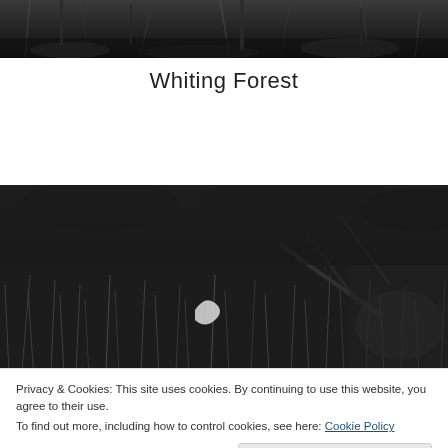[Figure (photo): Black and white forest floor photo at top of page]
Whiting Forest
[Figure (photo): Black and white forest floor photo showing grass, leaves, and sticks]
Privacy & Cookies: This site uses cookies. By continuing to use this website, you agree to their use.
To find out more, including how to control cookies, see here: Cookie Policy
Close and accept